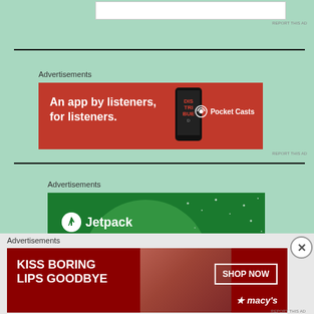[Figure (screenshot): White search bar input field at top of page]
Advertisements
[Figure (illustration): Pocket Casts advertisement banner: red background with text 'An app by listeners, for listeners.' and Pocket Casts logo with podcast app imagery]
Advertisements
[Figure (illustration): Jetpack advertisement banner: dark green background with large lighter green circle, Jetpack logo and name in white]
Advertisements
[Figure (illustration): Macy's advertisement banner: red background with woman's face, text 'KISS BORING LIPS GOODBYE', SHOP NOW button, and Macy's star logo]